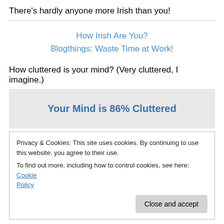There's hardly anyone more Irish than you!
How Irish Are You?
Blogthings: Waste Time at Work!
How cluttered is your mind? (Very cluttered, I imagine.)
Your Mind is 86% Cluttered
Privacy & Cookies: This site uses cookies. By continuing to use this website, you agree to their use.
To find out more, including how to control cookies, see here: Cookie Policy
Close and accept
Your mind is incredibly cluttered. You have so much